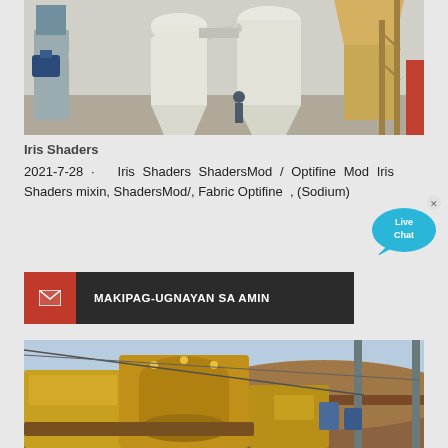[Figure (photo): Industrial milling equipment with white cyclone separators and silos inside a factory building]
Iris Shaders
2021-7-28 · Iris Shaders ShadersMod / Optifine Mod Iris Shaders mixin, ShadersMod/, Fabric Optifine  , (Sodium)
[Figure (infographic): Contact bar with red envelope icon and dark background reading MAKIPAG-UGNAYAN SA AMIN]
[Figure (photo): Yellow heavy mining crusher machine on a construction site with brown earth in background]